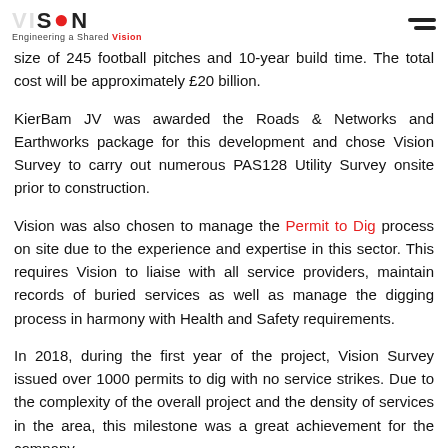VISION Engineering a Shared Vision
size of 245 football pitches and 10-year build time. The total cost will be approximately £20 billion.
KierBam JV was awarded the Roads & Networks and Earthworks package for this development and chose Vision Survey to carry out numerous PAS128 Utility Survey onsite prior to construction.
Vision was also chosen to manage the Permit to Dig process on site due to the experience and expertise in this sector. This requires Vision to liaise with all service providers, maintain records of buried services as well as manage the digging process in harmony with Health and Safety requirements.
In 2018, during the first year of the project, Vision Survey issued over 1000 permits to dig with no service strikes. Due to the complexity of the overall project and the density of services in the area, this milestone was a great achievement for the company.
You can find more information about the project on the official